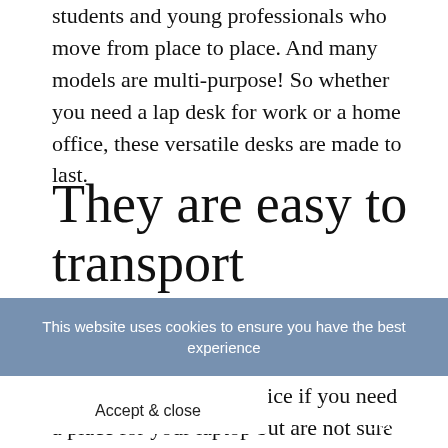students and young professionals who move from place to place. And many models are multi-purpose! So whether you need a lap desk for work or a home office, these versatile desks are made to last.
They are easy to transport
A lap desk is a great choice if you need a place for your laptop but are not sure where to set it. They're portable, easy to carry, and can be used in a variety of locations. They're perfect for home or office, allowing you to work while sitting on your sofa, patio furniture, or in your car. You can
This website uses cookies to ensure you have the best experience
Accept & close
Decline